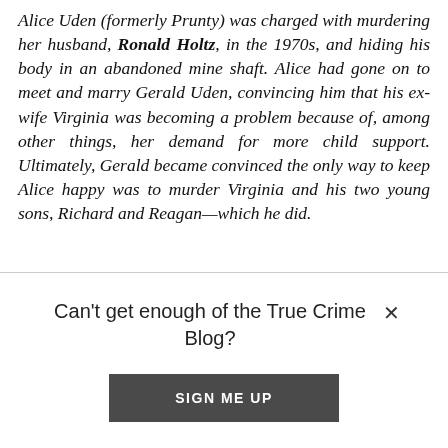Alice Uden (formerly Prunty) was charged with murdering her husband, Ronald Holtz, in the 1970s, and hiding his body in an abandoned mine shaft. Alice had gone on to meet and marry Gerald Uden, convincing him that his ex-wife Virginia was becoming a problem because of, among other things, her demand for more child support. Ultimately, Gerald became convinced the only way to keep Alice happy was to murder Virginia and his two young sons, Richard and Reagan—which he did.
Can't get enough of the True Crime Blog?
SIGN ME UP